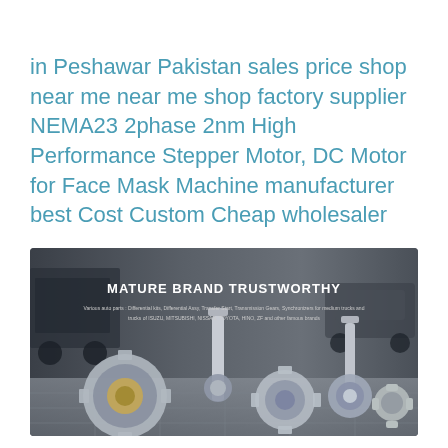in Peshawar Pakistan sales price shop near me near me shop factory supplier NEMA23 2phase 2nm High Performance Stepper Motor, DC Motor for Face Mask Machine manufacturer best Cost Custom Cheap wholesaler
[Figure (photo): Banner image showing automotive/mechanical parts (gears, differential kits, transmission components) displayed on a dark background with text 'MATURE BRAND TRUSTWORTHY' and subtitle text about various auto parts.]